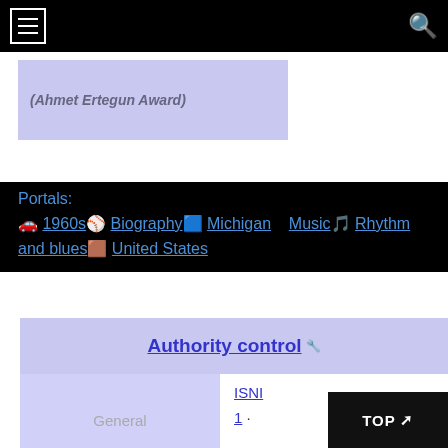Navigation bar with hamburger menu and search icon
(Ahmet Ertegun Award)
Portals: 1960s Biography Michigan Music Rhythm and blues United States
Authority control
|  |  |
| --- | --- |
| General | ISNI 1 · VIAF 1 · |